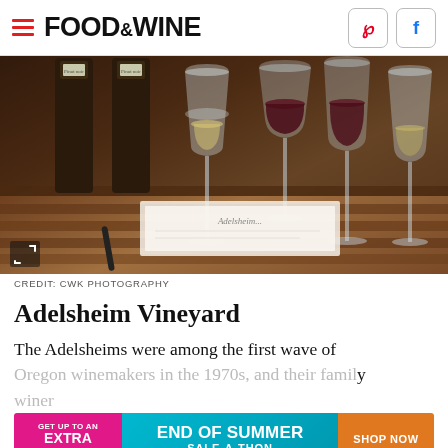FOOD & WINE
[Figure (photo): Wine glasses and bottles arranged on a wooden table for a wine tasting at Adelsheim Vineyard. Multiple glasses containing red and white wine with wine bottles in background.]
CREDIT: CWK PHOTOGRAPHY
Adelsheim Vineyard
The Adelsheims were among the first wave of Oregon winemakers in the 1970s, and their family winery...
[Figure (infographic): Advertisement banner: GET UP TO AN EXTRA 50% OFF | END OF SUMMER SALE-A-THON | SHOP NOW]